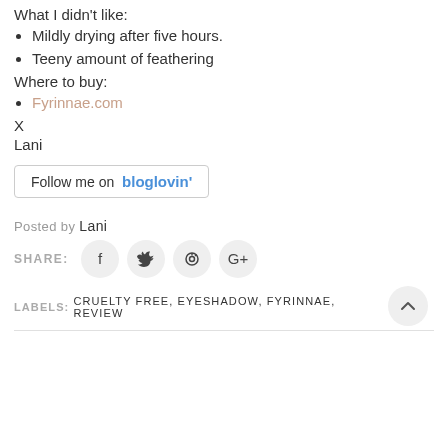What I didn't like:
Mildly drying after five hours.
Teeny amount of feathering
Where to buy:
Fyrinnae.com
X
Lani
[Figure (other): Follow me on bloglovin' button]
Posted by Lani
[Figure (other): Social share icons: Facebook, Twitter, Pinterest, Google+]
LABELS: CRUELTY FREE, EYESHADOW, FYRINNAE, REVIEW